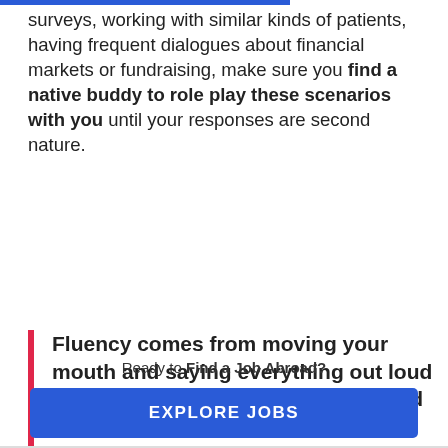surveys, working with similar kinds of patients, having frequent dialogues about financial markets or fundraising, make sure you find a native buddy to role play these scenarios with you until your responses are second nature.
Fluency comes from moving your mouth and saying everything out loud to someone who can understand and correct you.
Ready to Find a Job Abroad?
EXPLORE JOBS